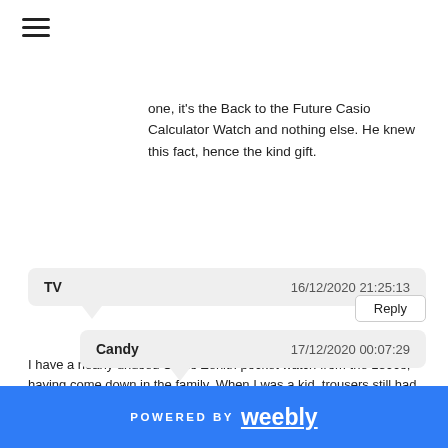one, it's the Back to the Future Casio Calculator Watch and nothing else. He knew this fact, hence the kind gift.
TV   16/12/2020 21:25:13
I have a nearly unused Swiss Zenith pocket watch from the 1800s, having come down in the family. When I was a kid, trousers still had a special pocket for pocket watches. I also have a Rolls-Royce and big Mercedes Benz rotting in my backyard. After my wife and daughter passed on years ago, I woke up and ever since those things don't mean anything to me any longer. A blessing in disguise.
Reply
Candy   17/12/2020 00:07:29
POWERED BY weebly